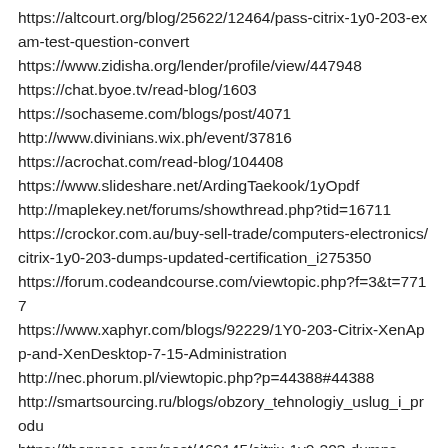https://altcourt.org/blog/25622/12464/pass-citrix-1y0-203-exam-test-question-convert
https://www.zidisha.org/lender/profile/view/447948
https://chat.byoe.tv/read-blog/1603
https://sochaseme.com/blogs/post/4071
http://www.divinians.wix.ph/event/37816
https://acrochat.com/read-blog/104408
https://www.slideshare.net/ArdingTaekook/1yOpdf
http://maplekey.net/forums/showthread.php?tid=16711
https://crockor.com.au/buy-sell-trade/computers-electronics/citrix-1y0-203-dumps-updated-certification_i275350
https://forum.codeandcourse.com/viewtopic.php?f=3&t=7717
https://www.xaphyr.com/blogs/92229/1Y0-203-Citrix-XenApp-and-XenDesktop-7-15-Administration
http://nec.phorum.pl/viewtopic.php?p=44388#44388
http://smartsourcing.ru/blogs/obzory_tehnologiy_uslug_i_produ
https://theprose.com/post/469145/citrix-1y0-203-dumps